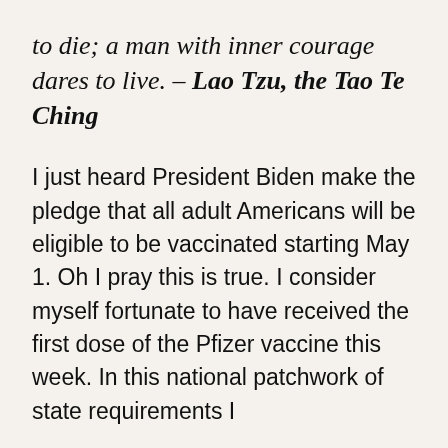to die; a man with inner courage dares to live. – Lao Tzu, the Tao Te Ching
I just heard President Biden make the pledge that all adult Americans will be eligible to be vaccinated starting May 1. Oh I pray this is true. I consider myself fortunate to have received the first dose of the Pfizer vaccine this week. In this national patchwork of state requirements I